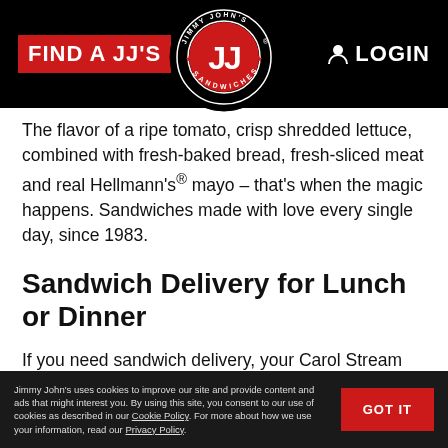FIND A JJ'S   [Jimmy John's Logo]   LOGIN
The flavor of a ripe tomato, crisp shredded lettuce, combined with fresh-baked bread, fresh-sliced meat and real Hellmann's® mayo – that's when the magic happens. Sandwiches made with love every single day, since 1983.
Sandwich Delivery for Lunch or Dinner
If you need sandwich delivery, your Carol Stream Jimmy John's has you covered. We'll even deliver one sandwich.
Just place an online order or order through the Jimmy John's app and we'll bring it to ya. We also offer last-minute catering for any occasion: Mini Jimmys®, Box Lunches, and tasty sides. Whether you carry it out, or delivered and set up by us -- you name it,
Jimmy John's uses cookies to improve our site and provide content and ads that might interest you. By using this site, you consent to our use of cookies as described in our Cookie Policy. For more about how we use your information, read our Privacy Policy.